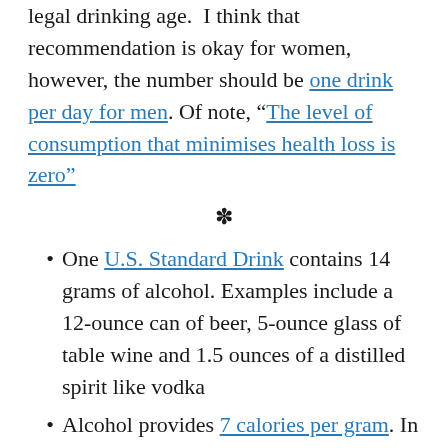legal drinking age. I think that recommendation is okay for women, however, the number should be one drink per day for men. Of note, "The level of consumption that minimises health loss is zero"
❋
One U.S. Standard Drink contains 14 grams of alcohol. Examples include a 12-ounce can of beer, 5-ounce glass of table wine and 1.5 ounces of a distilled spirit like vodka
Alcohol provides 7 calories per gram. In contrast, carbohydrates (fiber, starch, sugar) and protein provide 4 calories, and fat 9
One 12-ounce bottle of beer provides 145 calories: 98 from alcohol and the rest from